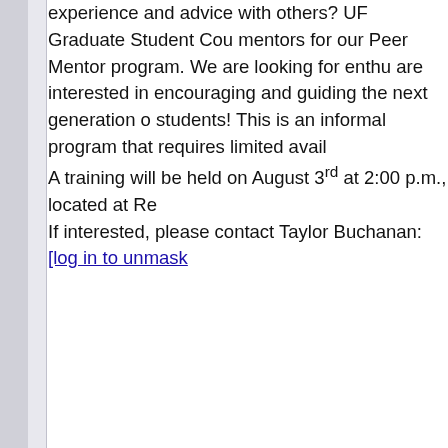experience and advice with others? UF Graduate Student Cou mentors for our Peer Mentor program. We are looking for enthu are interested in encouraging and guiding the next generation o students! This is an informal program that requires limited avail A training will be held on August 3rd at 2:00 p.m., located at Re If interested, please contact Taylor Buchanan: [log in to unmask